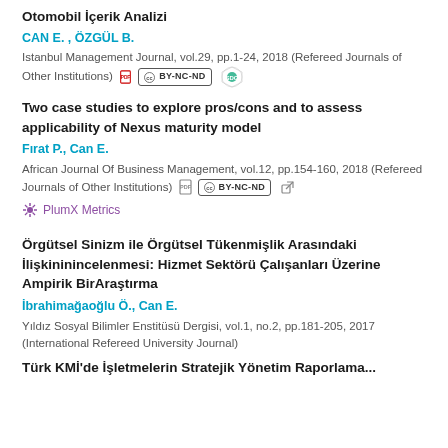Otomobil İçerik Analizi
CAN E. , ÖZGÜL B.
Istanbul Management Journal, vol.29, pp.1-24, 2018 (Refereed Journals of Other Institutions)
Two case studies to explore pros/cons and to assess applicability of Nexus maturity model
Fırat P., Can E.
African Journal Of Business Management, vol.12, pp.154-160, 2018 (Refereed Journals of Other Institutions)
PlumX Metrics
Örgütsel Sinizm ile Örgütsel Tükenmişlik Arasındaki İlişkininincelenmesi: Hizmet Sektörü Çalışanları Üzerine Ampirik BirAraştırma
İbrahimağaoğlu Ö., Can E.
Yıldız Sosyal Bilimler Enstitüsü Dergisi, vol.1, no.2, pp.181-205, 2017 (International Refereed University Journal)
Türk KMİ'de İşletmelerin Stratejik Yönetim Raporlama...